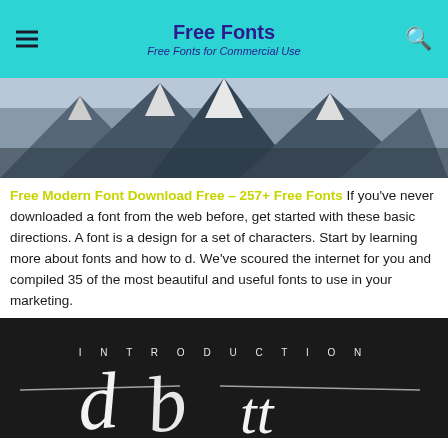Free Fonts
Free Fonts for Commercial Use
[Figure (photo): Snowy mountain peaks landscape photo]
Free Modern Font Download Free – 257+ Free Fonts If you've never downloaded a font from the web before, get started with these basic directions. A font is a design for a set of characters. Start by learning more about fonts and how to d. We've scoured the internet for you and compiled 35 of the most beautiful and useful fonts to use in your marketing.
[Figure (photo): Dark textured background with INTRODUCTION text and a handwritten script font display]